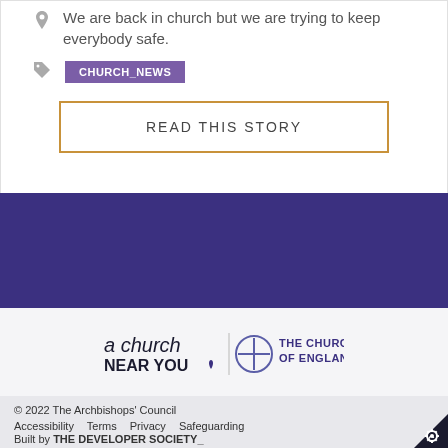We are back in church but we are trying to keep everybody safe.
CHURCH_NEWS
READ THIS STORY
[Figure (logo): A Church Near You | The Church of England logo]
© 2022 The Archbishops' Council
Accessibility   Terms   Privacy   Safeguarding
Built by THE DEVELOPER SOCIETY_